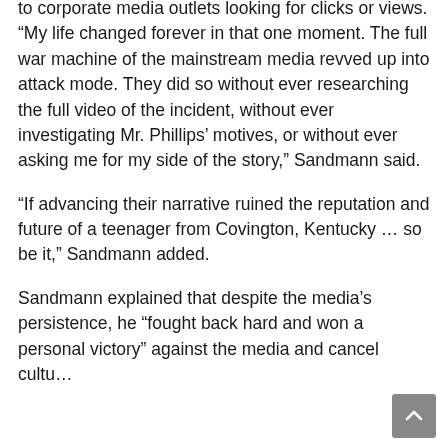to corporate media outlets looking for clicks or views. “My life changed forever in that one moment. The full war machine of the mainstream media revved up into attack mode. They did so without ever researching the full video of the incident, without ever investigating Mr. Phillips’ motives, or without ever asking me for my side of the story,” Sandmann said.
“If advancing their narrative ruined the reputation and future of a teenager from Covington, Kentucky … so be it,” Sandmann added.
Sandmann explained that despite the media’s persistence, he “fought back hard and won a personal victory” against the media and cancel cultu…